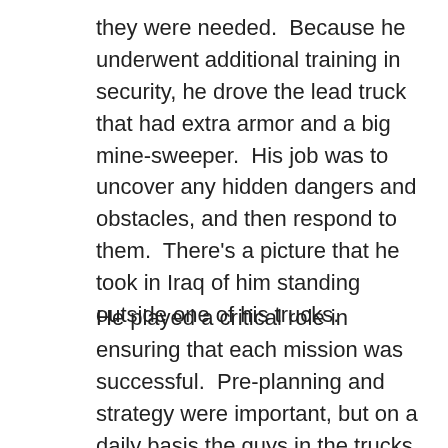they were needed.  Because he underwent additional training in security, he drove the lead truck that had extra armor and a big mine-sweeper.  His job was to uncover any hidden dangers and obstacles, and then respond to them.  There's a picture that he took in Iraq of him standing outside one of his trucks.
He played a critical role in ensuring that each mission was successful.  Pre-planning and strategy were important, but on a daily basis the guys in the trucks behind him were glad to have someone out front keeping things safe.  He was going to